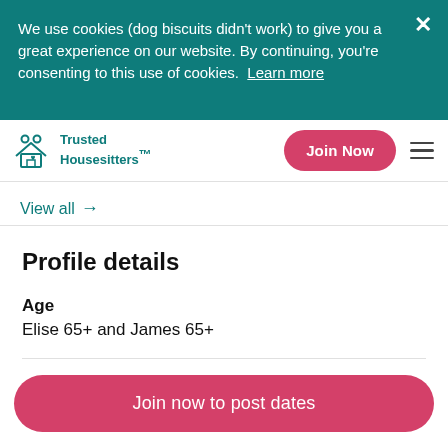We use cookies (dog biscuits didn't work) to give you a great experience on our website. By continuing, you're consenting to this use of cookies. Learn more
[Figure (logo): Trusted Housesitters logo with two people and a house icon in teal]
View all →
Profile details
Age
Elise 65+ and James 65+
Join now to post dates